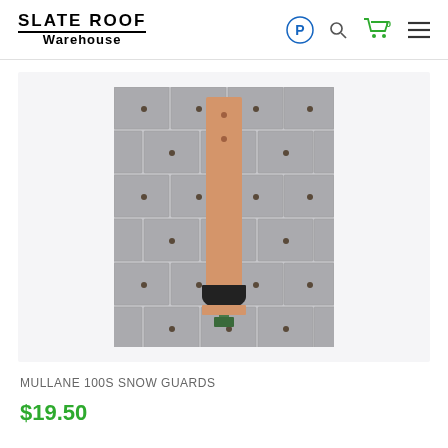SLATE ROOF WAREHOUSE
[Figure (photo): A copper snow guard (Mullane 100S) mounted on a slate roof. The guard consists of a long narrow copper strap with two nail holes at the top and a black semicircular snow stop bracket at the bottom, installed on a gray slate tile roof.]
MULLANE 100S SNOW GUARDS
$19.50